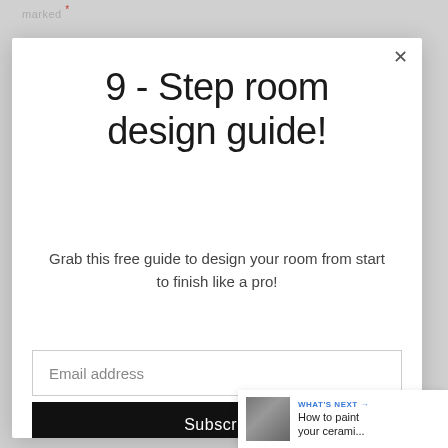marked *
9 - Step room design guide!
Grab this free guide to design your room from start to finish like a pro!
Email address
Subscribe
0
WHAT'S NEXT → How to paint your cerami...